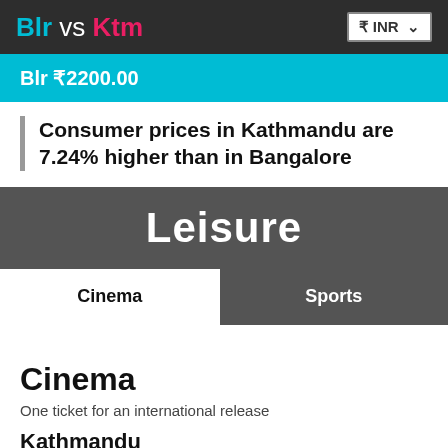Blr vs Ktm   ₹ INR
Blr ₹2200.00
Consumer prices in Kathmandu are 7.24% higher than in Bangalore
Leisure
Cinema
Sports
Cinema
One ticket for an international release
Kathmandu